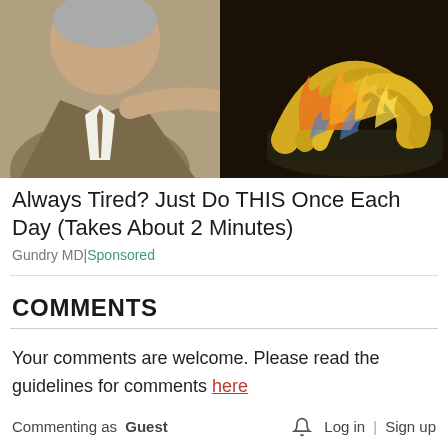[Figure (photo): Advertisement image showing a man in a suit pointing at flaming bananas in a pan]
Always Tired? Just Do THIS Once Each Day (Takes About 2 Minutes)
Gundry MD | Sponsored
COMMENTS
Your comments are welcome. Please read the guidelines for comments here
Commenting as Guest   Log in | Sign up